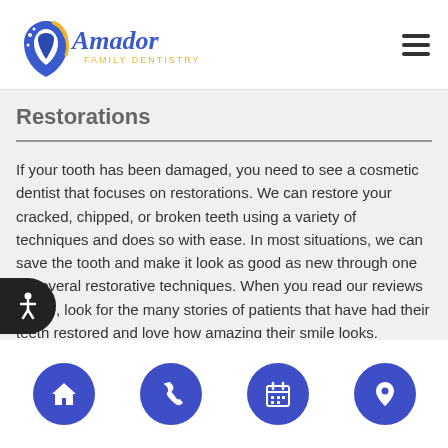Amador Family Dentistry
Restorations
If your tooth has been damaged, you need to see a cosmetic dentist that focuses on restorations. We can restore your cracked, chipped, or broken teeth using a variety of techniques and does so with ease. In most situations, we can save the tooth and make it look as good as new through one of several restorative techniques. When you read our reviews online, look for the many stories of patients that have had their teeth restored and love how amazing their smile looks.
[Figure (other): Bottom navigation bar with four circular blue buttons: home, phone, calendar, and location icons]